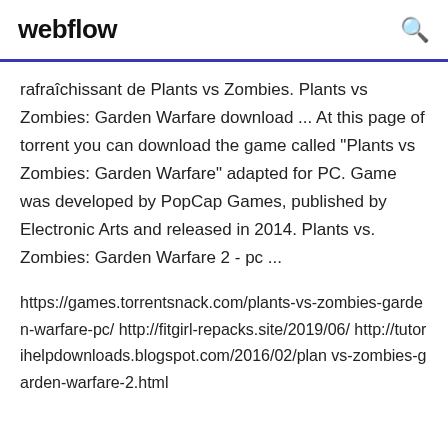webflow
rafraîchissant de Plants vs Zombies. Plants vs Zombies: Garden Warfare download ... At this page of torrent you can download the game called "Plants vs Zombies: Garden Warfare" adapted for PC. Game was developed by PopCap Games, published by Electronic Arts and released in 2014. Plants vs. Zombies: Garden Warfare 2 - pc ...
https://games.torrentsnack.com/plants-vs-zombies-garden-warfare-pc/ http://fitgirl-repacks.site/2019/06/ http://tutorihelpdownloads.blogspot.com/2016/02/plar vs-zombies-garden-warfare-2.html